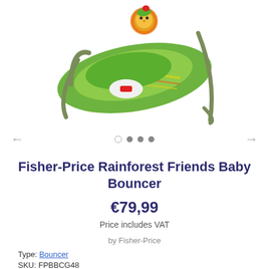[Figure (photo): Fisher-Price Rainforest Friends Baby Bouncer product photo — a green baby bouncer seat with a lion toy bar, shown on white background.]
Fisher-Price Rainforest Friends Baby Bouncer
€79,99
Price includes VAT
by Fisher-Price
Type: Bouncer
SKU: FPBBCG48